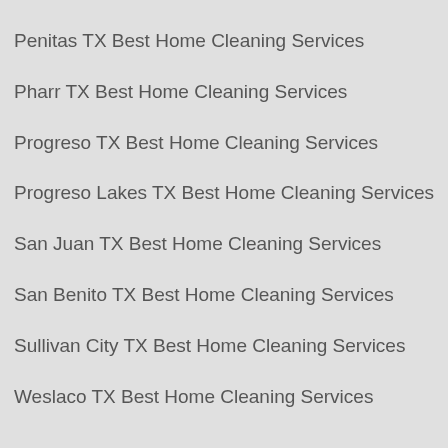Penitas TX Best Home Cleaning Services
Pharr TX Best Home Cleaning Services
Progreso TX Best Home Cleaning Services
Progreso Lakes TX Best Home Cleaning Services
San Juan TX Best Home Cleaning Services
San Benito TX Best Home Cleaning Services
Sullivan City TX Best Home Cleaning Services
Weslaco TX Best Home Cleaning Services